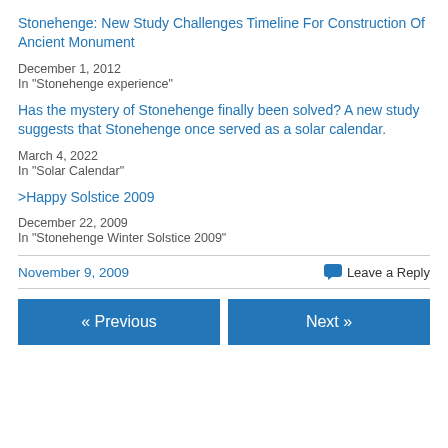Stonehenge: New Study Challenges Timeline For Construction Of Ancient Monument
December 1, 2012
In "Stonehenge experience"
Has the mystery of Stonehenge finally been solved? A new study suggests that Stonehenge once served as a solar calendar.
March 4, 2022
In "Solar Calendar"
>Happy Solstice 2009
December 22, 2009
In "Stonehenge Winter Solstice 2009"
November 9, 2009
Leave a Reply
« Previous
Next »